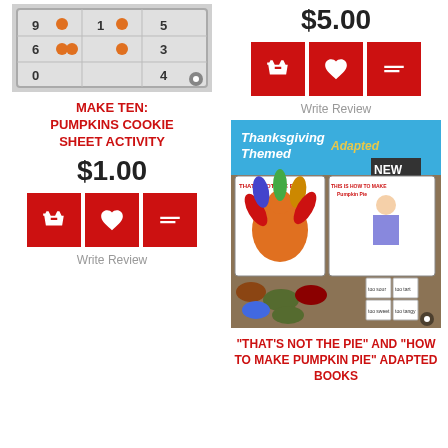[Figure (photo): Cookie sheet activity with pumpkins, showing numbers 0,1,3,4,6,7,9 arranged in grid]
MAKE TEN: PUMPKINS COOKIE SHEET ACTIVITY
$1.00
[Figure (infographic): Three red buttons: shopping basket, heart, menu/list icons]
Write Review
$5.00
[Figure (infographic): Three red buttons: shopping basket, heart, menu/list icons]
Write Review
[Figure (photo): Thanksgiving Themed Adapted books: That's Not The Pie and This Is How To Make Pumpkin Pie, with pie manipulatives and small cards. NEW badge visible.]
"THAT'S NOT THE PIE" AND "HOW TO MAKE PUMPKIN PIE" ADAPTED BOOKS